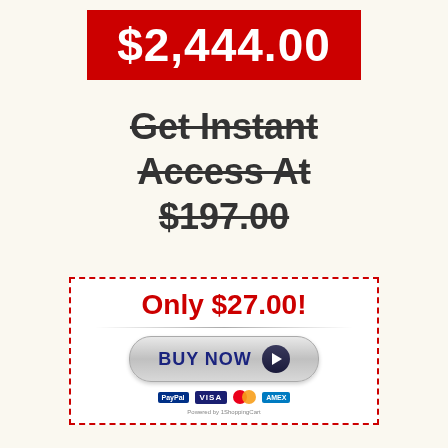$2,444.00
Get Instant Access At $197.00
[Figure (other): Call-to-action box with dashed red border containing price 'Only $27.00!', a silver BUY NOW button with play icon, payment logos (PayPal, Visa, Mastercard, Amex), and 'Powered by 1ShoppingCart' text]